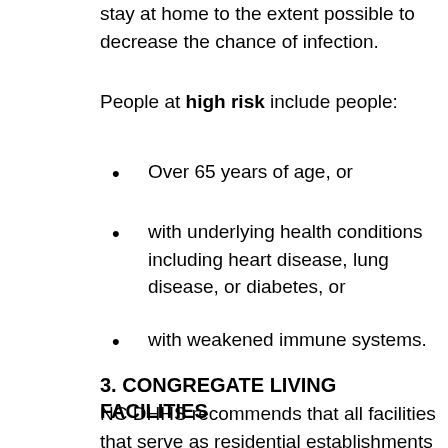stay at home to the extent possible to decrease the chance of infection.
People at high risk include people:
Over 65 years of age, or
with underlying health conditions including heart disease, lung disease, or diabetes, or
with weakened immune systems.
3. CONGREGATE LIVING FACILITIES
NC DHHS recommends that all facilities that serve as residential establishments for high risk persons described above should restrict visitors. Exceptions should include end of life care or other emergent situations determined